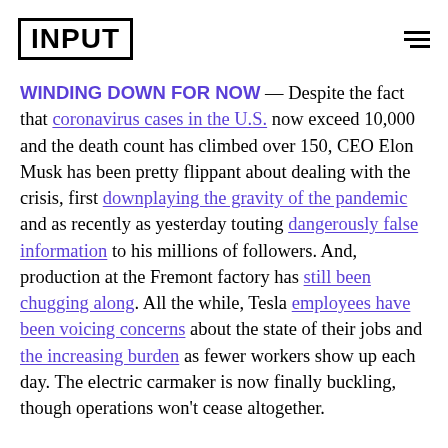INPUT
WINDING DOWN FOR NOW — Despite the fact that coronavirus cases in the U.S. now exceed 10,000 and the death count has climbed over 150, CEO Elon Musk has been pretty flippant about dealing with the crisis, first downplaying the gravity of the pandemic and as recently as yesterday touting dangerously false information to his millions of followers. And, production at the Fremont factory has still been chugging along. All the while, Tesla employees have been voicing concerns about the state of their jobs and the increasing burden as fewer workers show up each day. The electric carmaker is now finally buckling, though operations won't cease altogether.